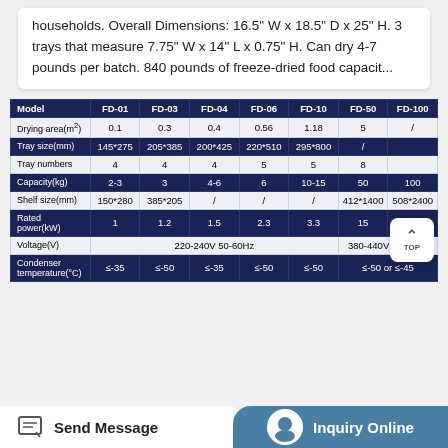households. Overall Dimensions: 16.5" W x 18.5" D x 25" H. 3 trays that measure 7.75" W x 14" L x 0.75" H. Can dry 4-7 pounds per batch. 840 pounds of freeze-dried food capacit...
| Model | FD-01 | FD-03 | FD-04 | FD-06 | FD-10 | FD-50 | FD-100 |
| --- | --- | --- | --- | --- | --- | --- | --- |
| Drying area(m²) | 0.1 | 0.3 | 0.4 | 0.56 | 1.18 | 5 | / |
| Tray size(mm) | 145*275 | 205*385 | 200*425 | 220*510 | 295*800 | / |  |
| Tray numbers | 4 | 4 | 4 | 5 | 5 | 8 |  |
| Capacity(kg) | 2-3 | 3 | 4-6 | 6 | 10-15 | 50 | 100 |
| Shelf size(mm) | 150*280 | 385*205 | / | / | / | 412*1400 | 508*2400 |
| Rated power(kW) | 1 | 1.2 | 1.5 | 2.3 | 3.3 | 15 | 25 |
| Voltage(V) | 220-240V  50-60Hz |  |  |  |  | 380-440V  50-60Hz |  |
| Condenser temperature(°C) | ≤-35 | ≤-50 | ≤-35 | ≤-50 | ≤-50 | ≤-50 or ≤-45 |  |